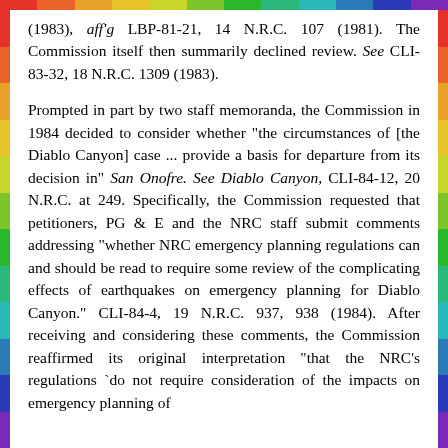(1983), aff'g LBP-81-21, 14 N.R.C. 107 (1981). The Commission itself then summarily declined review. See CLI-83-32, 18 N.R.C. 1309 (1983).
Prompted in part by two staff memoranda, the Commission in 1984 decided to consider whether "the circumstances of [the Diablo Canyon] case ... provide a basis for departure from its decision in" San Onofre. See Diablo Canyon, CLI-84-12, 20 N.R.C. at 249. Specifically, the Commission requested that petitioners, PG & E and the NRC staff submit comments addressing "whether NRC emergency planning regulations can and should be read to require some review of the complicating effects of earthquakes on emergency planning for Diablo Canyon." CLI-84-4, 19 N.R.C. 937, 938 (1984). After receiving and considering these comments, the Commission reaffirmed its original interpretation "that the NRC's regulations `do not require consideration of the impacts on emergency planning of